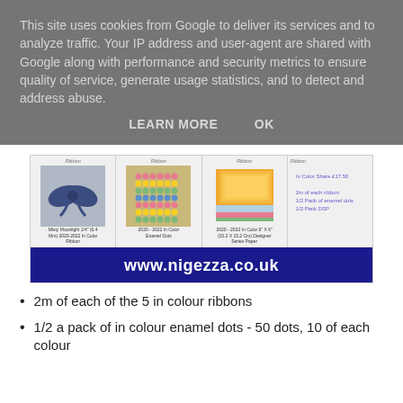This site uses cookies from Google to deliver its services and to analyze traffic. Your IP address and user-agent are shared with Google along with performance and security metrics to ensure quality of service, generate usage statistics, and to detect and address abuse.
LEARN MORE    OK
[Figure (screenshot): Product image showing ribbon bow, enamel dots, designer series paper, and text listing In Colour Share £17.50, 2m of each ribbon, 1/2 Pack of enamel dots, 1/2 Pack DSP, with website www.nigezza.co.uk at bottom]
2m of each of the 5 in colour ribbons
1/2 a pack of in colour enamel dots - 50 dots, 10 of each colour